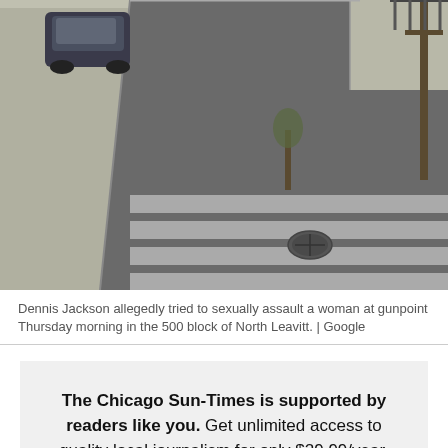[Figure (photo): Aerial/street-level view of an urban intersection showing a crosswalk with white stripes on asphalt, a sidewalk with a manhole cover, a parked dark SUV/car in the upper left, and a utility pole in the upper right.]
Dennis Jackson allegedly tried to sexually assault a woman at gunpoint Thursday morning in the 500 block of North Leavitt. | Google
The Chicago Sun-Times is supported by readers like you. Get unlimited access to quality local journalism for only $29.99/year.
JOIN TODAY